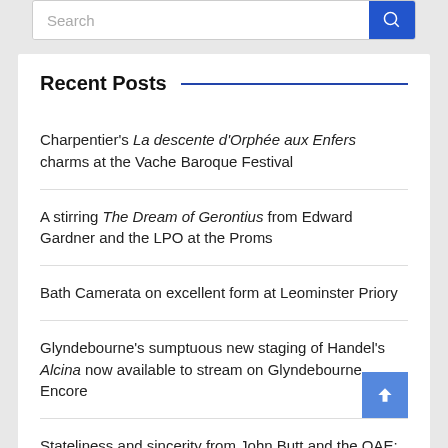[Figure (screenshot): Search bar with blue search button on the right]
Recent Posts
Charpentier's La descente d'Orphée aux Enfers charms at the Vache Baroque Festival
A stirring The Dream of Gerontius from Edward Gardner and the LPO at the Proms
Bath Camerata on excellent form at Leominster Priory
Glyndebourne's sumptuous new staging of Handel's Alcina now available to stream on Glyndebourne Encore
Stateliness and sincerity from John Butt and the OAE: Bach's Mass in B Minor at the Proms